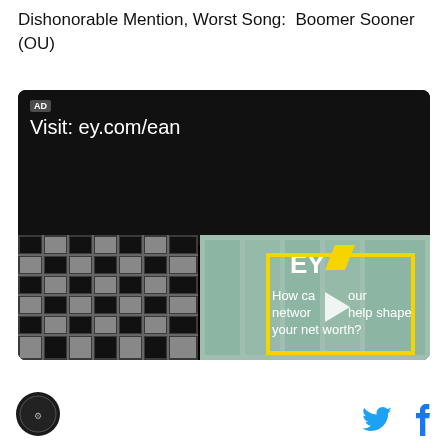Dishonorable Mention, Worst Song:  Boomer Sooner (OU)
[Figure (screenshot): Video advertisement thumbnail for EY (Ernst & Young). Shows 'AD' badge, URL 'Visit: ey.com/ean' on dark background, and a video frame with EY branded building with yellow graphic overlay and text 'How can your network help shape your net worth?' with a play button.]
[Figure (logo): Circular dark logo in footer, appears to be a sports/news site logo]
[Figure (other): Twitter bird icon in blue and Facebook f icon in blue in the footer social sharing bar]